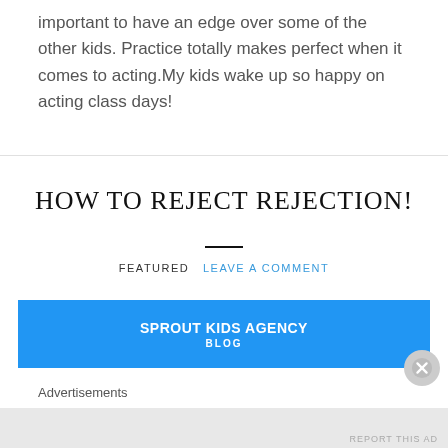important to have an edge over some of the other kids. Practice totally makes perfect when it comes to acting.My kids wake up so happy on acting class days!
HOW TO REJECT REJECTION!
FEATURED  LEAVE A COMMENT
[Figure (other): Blue banner advertisement for Sprout Kids Agency Blog with a close button]
Advertisements
REPORT THIS AD